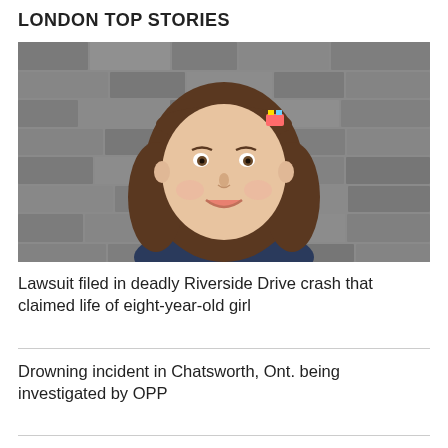LONDON TOP STORIES
[Figure (photo): Young girl with long brown curly hair and bangs, wearing a colorful hair clip, smiling in front of a stone brick wall background]
Lawsuit filed in deadly Riverside Drive crash that claimed life of eight-year-old girl
Drowning incident in Chatsworth, Ont. being investigated by OPP